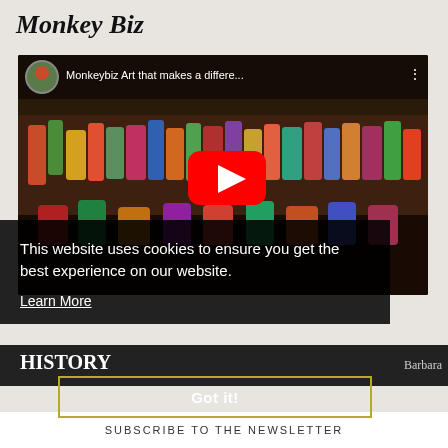Monkey Biz
[Figure (screenshot): YouTube video thumbnail showing colorful African art figures/animals in a shop, with YouTube play button overlay and video title 'Monkeybiz Art that makes a differe...']
This website uses cookies to ensure you get the best experience on our website.
Learn More
HISTORY
Back in 1999 South African artists and African art collectors Barbara
Got it!
SUBSCRIBE TO THE NEWSLETTER